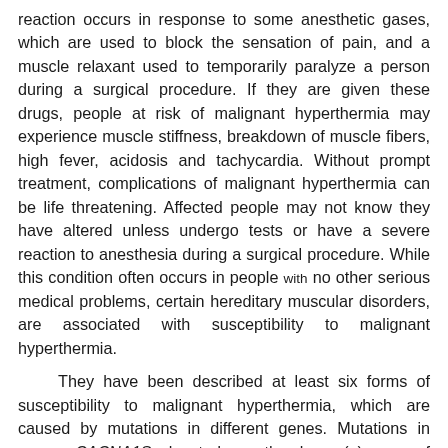reaction occurs in response to some anesthetic gases, which are used to block the sensation of pain, and a muscle relaxant used to temporarily paralyze a person during a surgical procedure. If they are given these drugs, people at risk of malignant hyperthermia may experience muscle stiffness, breakdown of muscle fibers, high fever, acidosis and tachycardia. Without prompt treatment, complications of malignant hyperthermia can be life threatening. Affected people may not know they have altered unless undergo tests or have a severe reaction to anesthesia during a surgical procedure. While this condition often occurs in people with no other serious medical problems, certain hereditary muscular disorders, are associated with susceptibility to malignant hyperthermia.
They have been described at least six forms of susceptibility to malignant hyperthermia, which are caused by mutations in different genes. Mutations in genes CACNA1S, located on the long (q) arm of chromosome 1 at position 32 (1q32) and RYR1, located on the long (q) arm of chromosome 19 at position 13.1 (19q13.1) increase the risk of developing malignant hyperthermia.